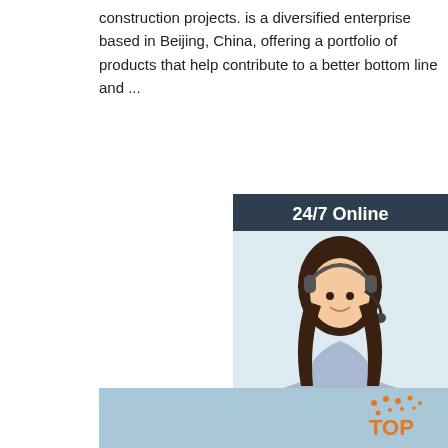construction projects. is a diversified enterprise based in Beijing, China, offering a portfolio of products that help contribute to a better bottom line and ...
Get Price
24/7 Online
[Figure (photo): Customer service representative wearing a headset, smiling, against a light background]
Click here for free chat !
QUOTATION
[Figure (photo): Flatbed truck loaded with large wooden crates marked with AYST, CASE, G.W. labels, outdoors with blue sky background]
TOP